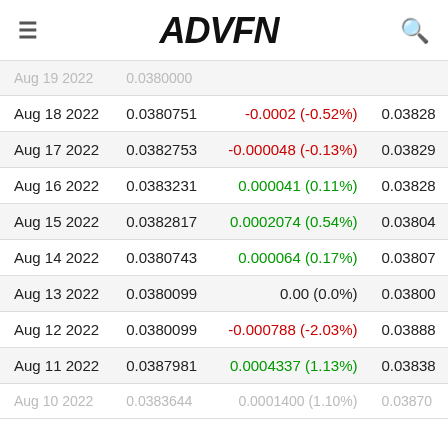ADVFN
| Date | Price | Change | Open |
| --- | --- | --- | --- |
| Aug 18 2022 | 0.0380751 | -0.0002 (-0.52%) | 0.03828 |
| Aug 17 2022 | 0.0382753 | -0.000048 (-0.13%) | 0.03829 |
| Aug 16 2022 | 0.0383231 | 0.000041 (0.11%) | 0.03828 |
| Aug 15 2022 | 0.0382817 | 0.0002074 (0.54%) | 0.03804 |
| Aug 14 2022 | 0.0380743 | 0.000064 (0.17%) | 0.03807 |
| Aug 13 2022 | 0.0380099 | 0.00 (0.0%) | 0.03800 |
| Aug 12 2022 | 0.0380099 | -0.000788 (-2.03%) | 0.03888 |
| Aug 11 2022 | 0.0387981 | 0.0004337 (1.13%) | 0.03838 |
| Aug 10 2022 | 0.0383644 | 0.0001400 (1.10%) | 0.03870 |